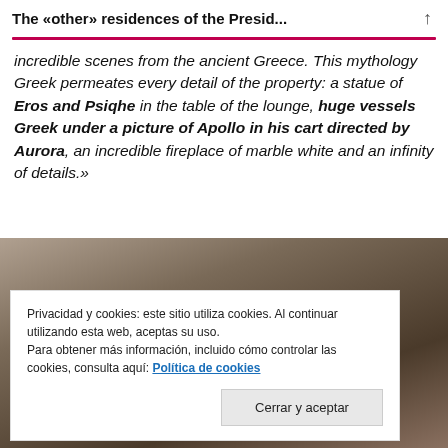The «other» residences of the Presid...
incredible scenes from the ancient Greece. This mythology Greek permeates every detail of the property: a statue of Eros and Psiqhe in the table of the lounge, huge vessels Greek under a picture of Apollo in his cart directed by Aurora, an incredible fireplace of marble white and an infinity of details.»
[Figure (photo): Photograph showing people, partially obscured by a cookie consent banner overlay]
Privacidad y cookies: este sitio utiliza cookies. Al continuar utilizando esta web, aceptas su uso.
Para obtener más información, incluido cómo controlar las cookies, consulta aquí: Política de cookies
Cerrar y aceptar